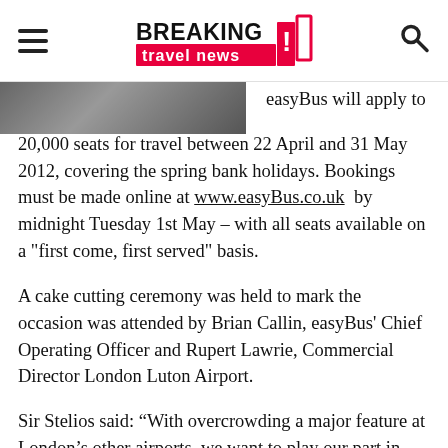Breaking Travel News
[Figure (photo): Partial image of a person at top-left, cropped at the bottom of the header area]
easyBus will apply to 20,000 seats for travel between 22 April and 31 May 2012, covering the spring bank holidays. Bookings must be made online at www.easyBus.co.uk by midnight Tuesday 1st May – with all seats available on a "first come, first served" basis.
A cake cutting ceremony was held to mark the occasion was attended by Brian Callin, easyBus' Chief Operating Officer and Rupert Lawrie, Commercial Director London Luton Airport.
Sir Stelios said: “With overcrowding a major feature at London’s other airports, we want to play our part in ensuring London Luton helps take the strain.